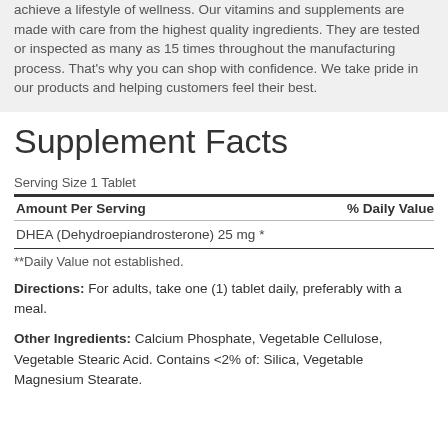achieve a lifestyle of wellness. Our vitamins and supplements are made with care from the highest quality ingredients. They are tested or inspected as many as 15 times throughout the manufacturing process. That's why you can shop with confidence. We take pride in our products and helping customers feel their best.
Supplement Facts
Serving Size 1 Tablet
| Amount Per Serving | % Daily Value |
| --- | --- |
| DHEA (Dehydroepiandrosterone) 25 mg | * |
**Daily Value not established.
Directions: For adults, take one (1) tablet daily, preferably with a meal.
Other Ingredients: Calcium Phosphate, Vegetable Cellulose, Vegetable Stearic Acid. Contains <2% of: Silica, Vegetable Magnesium Stearate.